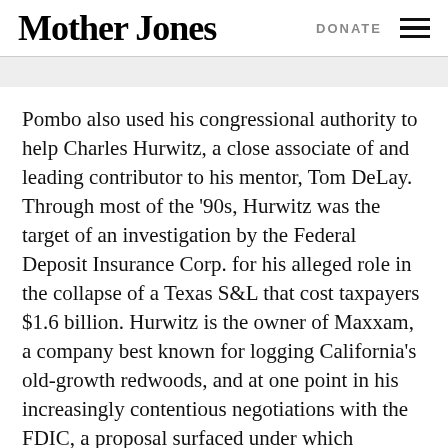Mother Jones | DONATE
Pombo also used his congressional authority to help Charles Hurwitz, a close associate of and leading contributor to his mentor, Tom DeLay. Through most of the ’90s, Hurwitz was the target of an investigation by the Federal Deposit Insurance Corp. for his alleged role in the collapse of a Texas S&L that cost taxpayers $1.6 billion. Hurwitz is the owner of Maxxam, a company best known for logging California’s old-growth redwoods, and at one point in his increasingly contentious negotiations with the FDIC, a proposal surfaced under which Hurwitz was to pay off $300 million of